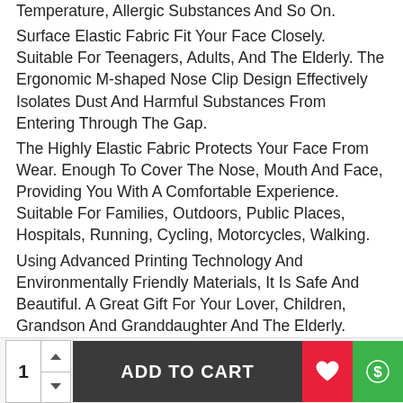Temperature, Allergic Substances And So On. Surface Elastic Fabric Fit Your Face Closely. Suitable For Teenagers, Adults, And The Elderly. The Ergonomic M-shaped Nose Clip Design Effectively Isolates Dust And Harmful Substances From Entering Through The Gap. The Highly Elastic Fabric Protects Your Face From Wear. Enough To Cover The Nose, Mouth And Face, Providing You With A Comfortable Experience. Suitable For Families, Outdoors, Public Places, Hospitals, Running, Cycling, Motorcycles, Walking. Using Advanced Printing Technology And Environmentally Friendly Materials, It Is Safe And Beautiful. A Great Gift For Your Lover, Children, Grandson And Granddaughter And The Elderly. Applicable Place:Perfect For Running, Camping, Hiking, Shopping, Travel, Morning Exercise, Cycling, Cleaning, Painting, Show Performance, Party and daily use. This mouth masks Washable Reusable Masks, Suitable for both boys, girls, men, women to go outside, cycling, shopping, and so on.We Are Specialized In Unique Designed Fashion Masks Which Has Various Styles.Various Colors And Unique Designs Make
ADD TO CART